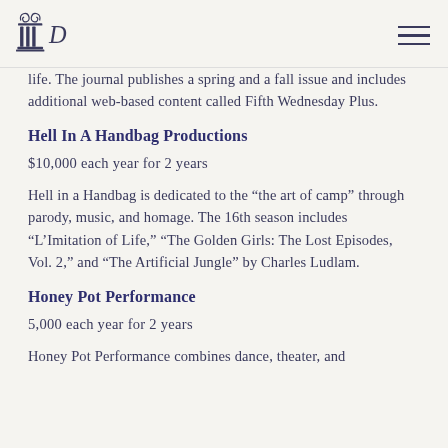[Logo] [Navigation menu icon]
life. The journal publishes a spring and a fall issue and includes additional web-based content called Fifth Wednesday Plus.
Hell In A Handbag Productions
$10,000 each year for 2 years
Hell in a Handbag is dedicated to the “the art of camp” through parody, music, and homage. The 16th season includes “L’Imitation of Life,” “The Golden Girls: The Lost Episodes, Vol. 2,” and “The Artificial Jungle” by Charles Ludlam.
Honey Pot Performance
5,000 each year for 2 years
Honey Pot Performance combines dance, theater, and